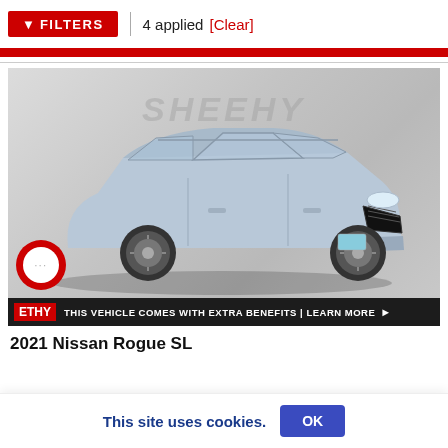FILTERS | 4 applied [Clear]
[Figure (photo): 2021 Nissan Rogue SL SUV in light blue/silver, photographed in a studio with a gray gradient background. Sheehy dealership watermark visible. Bottom banner reads: SHEEHY | THIS VEHICLE COMES WITH EXTRA BENEFITS | LEARN MORE. Red circular chat icon in lower left.]
2021 Nissan Rogue SL
This site uses cookies.
OK